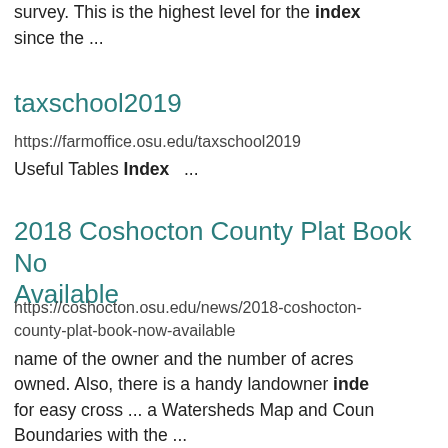survey. This is the highest level for the index since the ...
taxschool2019
https://farmoffice.osu.edu/taxschool2019
Useful Tables Index  ...
2018 Coshocton County Plat Book Now Available
https://coshocton.osu.edu/news/2018-coshocton-county-plat-book-now-available
name of the owner and the number of acres owned. Also, there is a handy landowner index for easy cross ... a Watersheds Map and County Boundaries with the ...